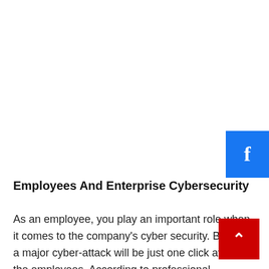[Figure (logo): Facebook social share button - blue rectangle with white letter f]
Employees And Enterprise Cybersecurity
As an employee, you play an important role when it comes to the company's cyber security. Because a major cyber-attack will be just one click away by the employees. According to professional
[Figure (other): Red scroll-to-top button with white upward chevron arrow]